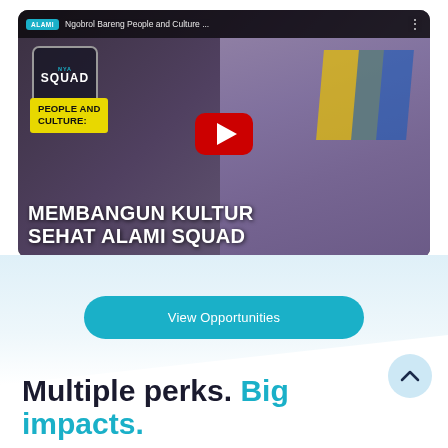[Figure (screenshot): YouTube video thumbnail showing a woman in hijab smiling, with text 'PEOPLE AND CULTURE: MEMBANGUN KULTUR SEHAT ALAMI SQUAD'. The video is from ALAMI channel titled 'Ngobrol Bareng People and Culture...'. There is a red YouTube play button in the center.]
View Opportunities
Multiple perks. Big impacts.